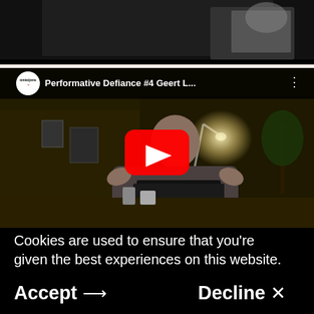[Figure (screenshot): Top portion of a dark video thumbnail showing a person from behind or side, with dark background]
[Figure (screenshot): YouTube embedded video player showing a bald man gesturing at a desk with a lamp, title 'Performative Defiance #4 Geert L...' with channel logo and play button overlay]
Cookies are used to ensure that you're given the best experiences on this website.
Accept → Decline ×